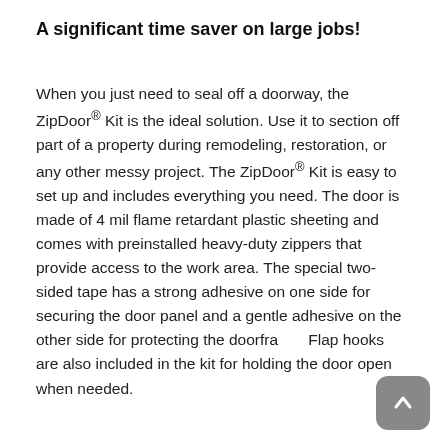A significant time saver on large jobs!
When you just need to seal off a doorway, the ZipDoor® Kit is the ideal solution. Use it to section off part of a property during remodeling, restoration, or any other messy project. The ZipDoor® Kit is easy to set up and includes everything you need. The door is made of 4 mil flame retardant plastic sheeting and comes with preinstalled heavy-duty zippers that provide access to the work area. The special two-sided tape has a strong adhesive on one side for securing the door panel and a gentle adhesive on the other side for protecting the doorframe. Flap hooks are also included in the kit for holding the door open when needed.